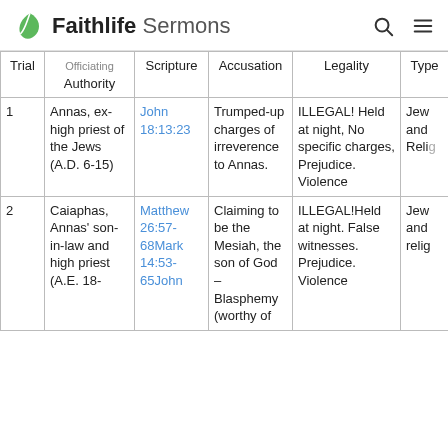Faithlife Sermons
| Trial | Officiating Authority | Scripture | Accusation | Legality | Type |
| --- | --- | --- | --- | --- | --- |
| 1 | Annas, ex-high priest of the Jews (A.D. 6-15) | John 18:13:23 | Trumped-up charges of irreverence to Annas. | ILLEGAL! Held at night, No specific charges, Prejudice. Violence | Jew... and Reli... |
| 2 | Caiaphas, Annas' son-in-law and high priest (A.E. 18- | Matthew 26:57-68Mark 14:53-65John | Claiming to be the Mesiah, the son of God – Blasphemy (worthy of | ILLEGAL!Held at night. False witnesses. Prejudice. Violence | Jew... and relig... |